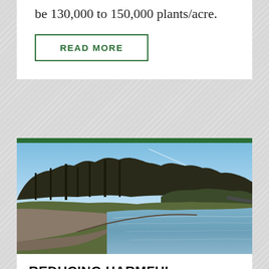be 130,000 to 150,000 plants/acre.
READ MORE
[Figure (photo): Shoreline photograph showing a calm lake or bay with bare deciduous trees along a curved shore, pebble beach in the foreground, blue sky above, and calm blue-grey water.]
REDUCING HARMFUL